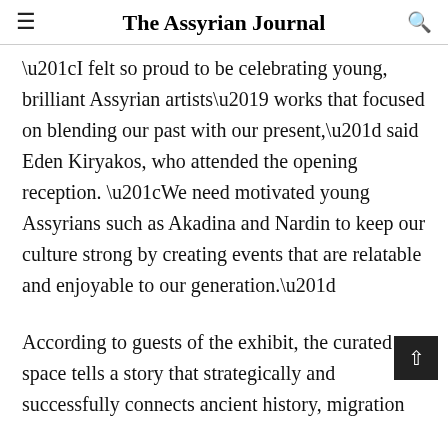The Assyrian Journal
“I felt so proud to be celebrating young, brilliant Assyrian artists’ works that focused on blending our past with our present,” said Eden Kiryakos, who attended the opening reception. “We need motivated young Assyrians such as Akadina and Nardin to keep our culture strong by creating events that are relatable and enjoyable to our generation.”
According to guests of the exhibit, the curated space tells a story that strategically and successfully connects ancient history, migration in the 20th century, and modern Assyrian